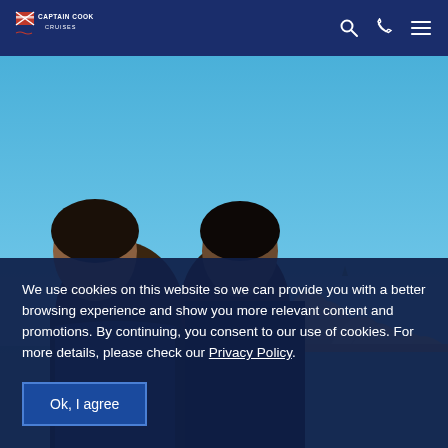[Figure (logo): Captain Cook Cruises logo — white text with flag icon on dark navy background]
[Figure (photo): Hero image: two people (tourists) in foreground with Sydney Opera House visible in the background under a clear blue sky]
We use cookies on this website so we can provide you with a better browsing experience and show you more relevant content and promotions. By continuing, you consent to our use of cookies. For more details, please check our Privacy Policy.
Ok, I agree